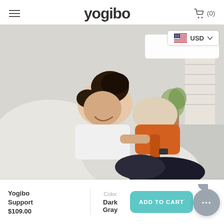yogibo
[Figure (photo): Two people sitting on a large white Yogibo bean bag sofa, smiling and holding a game controller. Woman in white shirt in foreground, man in orange shirt behind her.]
USD
Yogibo Support
$109.00
Color
Dark Gray
ADD TO CART